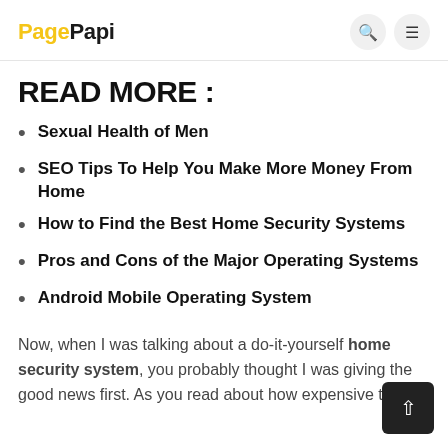PagePapi
READ MORE :
Sexual Health of Men
SEO Tips To Help You Make More Money From Home
How to Find the Best Home Security Systems
Pros and Cons of the Major Operating Systems
Android Mobile Operating System
Now, when I was talking about a do-it-yourself home security system, you probably thought I was giving the good news first. As you read about how expensive this